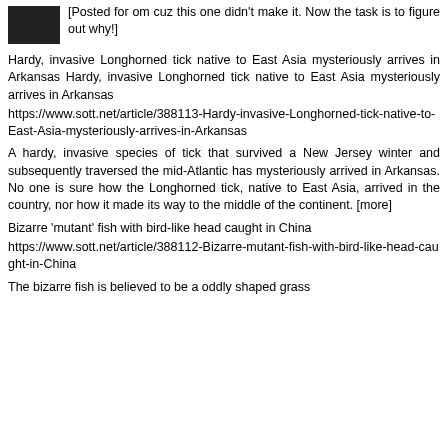[Posted for om cuz this one didn't make it. Now the task is to figure out why!]
Hardy, invasive Longhorned tick native to East Asia mysteriously arrives in Arkansas Hardy, invasive Longhorned tick native to East Asia mysteriously arrives in Arkansas
https://www.sott.net/article/388113-Hardy-invasive-Longhorned-tick-native-to-East-Asia-mysteriously-arrives-in-Arkansas
A hardy, invasive species of tick that survived a New Jersey winter and subsequently traversed the mid-Atlantic has mysteriously arrived in Arkansas. No one is sure how the Longhorned tick, native to East Asia, arrived in the country, nor how it made its way to the middle of the continent. [more]
Bizarre 'mutant' fish with bird-like head caught in China
https://www.sott.net/article/388112-Bizarre-mutant-fish-with-bird-like-head-caught-in-China
The bizarre fish is believed to be a oddly shaped grass